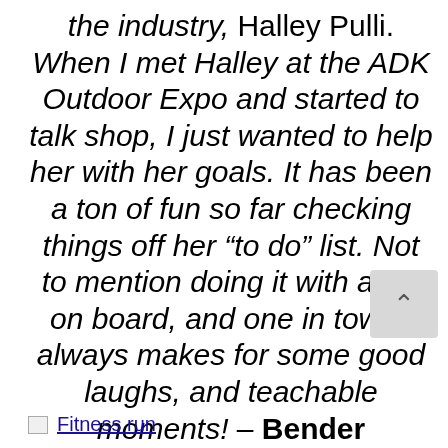the industry, Halley Pulli. When I met Halley at the ADK Outdoor Expo and started to talk shop, I just wanted to help her with her goals. It has been a ton of fun so far checking things off her “to do” list. Not to mention doing it with a kid on board, and one in tow. It always makes for some good laughs, and teachable moments! – Bender
[Figure (other): Broken image placeholder labeled 'Fitness run']